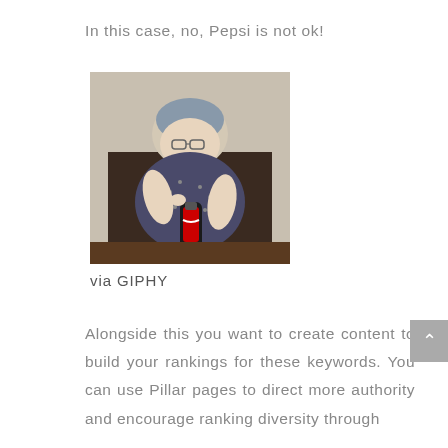In this case, no, Pepsi is not ok!
[Figure (photo): An elderly woman sitting in a leather chair holding a Coca-Cola bottle]
via GIPHY
Alongside this you want to create content to build your rankings for these keywords. You can use Pillar pages to direct more authority and encourage ranking diversity through